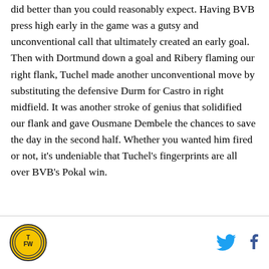did better than you could reasonably expect. Having BVB press high early in the game was a gutsy and unconventional call that ultimately created an early goal. Then with Dortmund down a goal and Ribery flaming our right flank, Tuchel made another unconventional move by substituting the defensive Durm for Castro in right midfield. It was another stroke of genius that solidified our flank and gave Ousmane Dembele the chances to save the day in the second half. Whether you wanted him fired or not, it's undeniable that Tuchel's fingerprints are all over BVB's Pokal win.
TFW logo, Twitter icon, Facebook icon